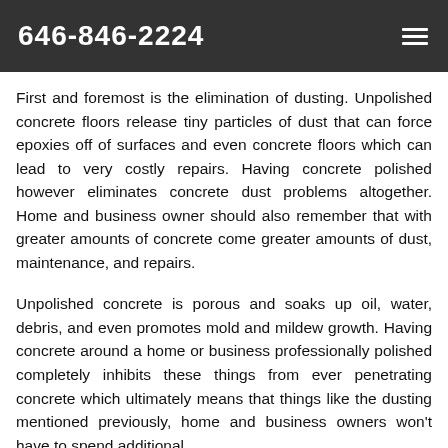646-846-2224
First and foremost is the elimination of dusting. Unpolished concrete floors release tiny particles of dust that can force epoxies off of surfaces and even concrete floors which can lead to very costly repairs. Having concrete polished however eliminates concrete dust problems altogether. Home and business owner should also remember that with greater amounts of concrete come greater amounts of dust, maintenance, and repairs.
Unpolished concrete is porous and soaks up oil, water, debris, and even promotes mold and mildew growth. Having concrete around a home or business professionally polished completely inhibits these things from ever penetrating concrete which ultimately means that things like the dusting mentioned previously, home and business owners won't have to spend additional